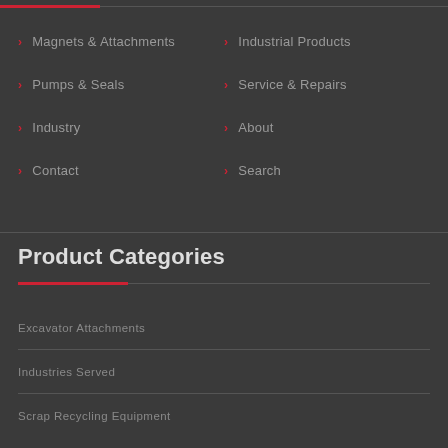> Magnets & Attachments
> Industrial Products
> Pumps & Seals
> Service & Repairs
> Industry
> About
> Contact
> Search
Product Categories
Excavator Attachments
Industries Served
Scrap Recycling Equipment